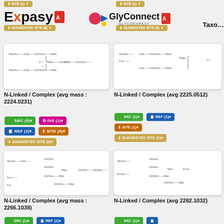[Figure (screenshot): ExPASy and GlyConnect web portal header with logos]
[Figure (screenshot): Glycan card: N-Linked / Complex avg mass 2224.0231 with SRC(3), DIS(1), REF(2), SITE(4), SUGGESTED SITE(0) buttons]
N-Linked / Complex (avg mass : 2224.0231)
[Figure (screenshot): Glycan card: N-Linked / Complex avg mass 2225.0512 with SRC(1), REF(1), SITE(1), SUGGESTED SITE(1) buttons]
N-Linked / Complex (avg mass : 2225.0512)
[Figure (screenshot): Glycan card: N-Linked / Complex avg mass 2266.1038 with SRC(1), REF(1) buttons]
N-Linked / Complex (avg mass : 2266.1038)
[Figure (screenshot): Glycan card: N-Linked / Complex avg mass 2282.1032]
N-Linked / Complex (avg mass : 2282.1032)